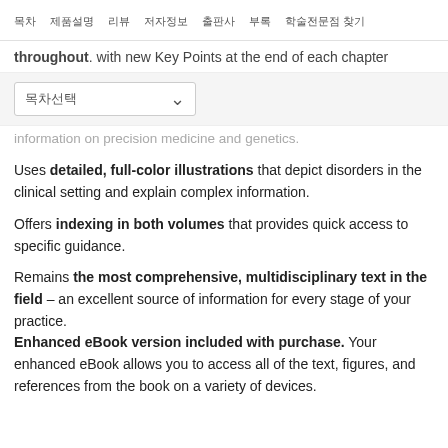목차  제품설명  리뷰  저자정보  출판사  부록  학술전문점 찾기
throughout. with new Key Points at the end of each chapter
목차선택 (dropdown)
information on precision medicine and genetics.
Uses detailed, full-color illustrations that depict disorders in the clinical setting and explain complex information.
Offers indexing in both volumes that provides quick access to specific guidance.
Remains the most comprehensive, multidisciplinary text in the field – an excellent source of information for every stage of your practice. Enhanced eBook version included with purchase. Your enhanced eBook allows you to access all of the text, figures, and references from the book on a variety of devices.